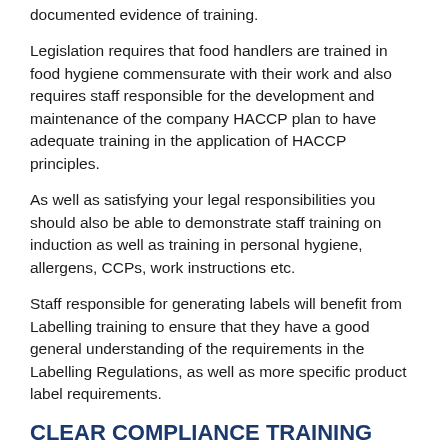documented evidence of training.
Legislation requires that food handlers are trained in food hygiene commensurate with their work and also requires staff responsible for the development and maintenance of the company HACCP plan to have adequate training in the application of HACCP principles.
As well as satisfying your legal responsibilities you should also be able to demonstrate staff training on induction as well as training in personal hygiene, allergens, CCPs, work instructions etc.
Staff responsible for generating labels will benefit from Labelling training to ensure that they have a good general understanding of the requirements in the Labelling Regulations, as well as more specific product label requirements.
CLEAR COMPLIANCE TRAINING COURSES: